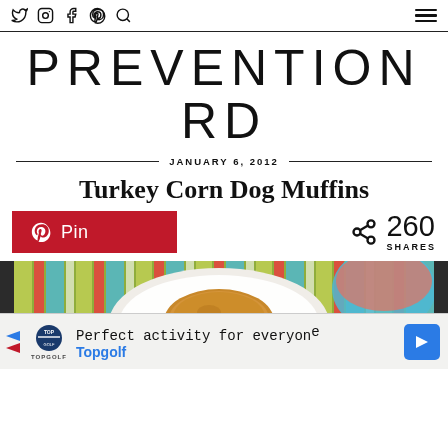Social icons: Twitter, Instagram, Facebook, Pinterest, Search | Hamburger menu
PREVENTION RD
JANUARY 6, 2012
Turkey Corn Dog Muffins
Pin | 260 SHARES
[Figure (photo): Top-down photo of a corn dog muffin on a white plate atop a colorful striped tablecloth, with another colorful dish visible in the upper right corner.]
Perfect activity for everyone Topgolf